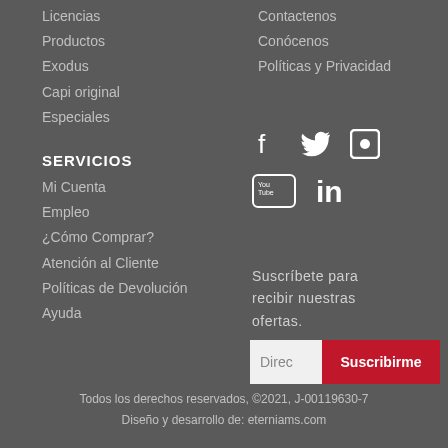Licencias
Contactenos
Productos
Conócenos
Exodus
Políticas y Privacidad
Capi original
Especiales
SERVICIOS
Mi Cuenta
Empleo
¿Cómo Comprar?
Atención al Cliente
Políticas de Devolución
Ayuda
[Figure (infographic): Social media icons: Facebook, Twitter, Vimeo, YouTube, LinkedIn]
Suscríbete para recibir nuestras ofertas.
Direc | Suscribirme
Todos los derechos reservados, ©2021, J-00119630-7
Diseño y desarrollo de: eterniams.com